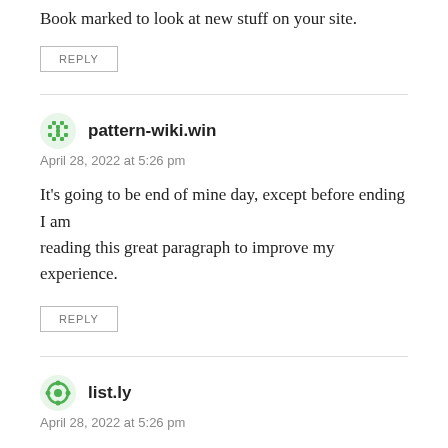Book marked to look at new stuff on your site.
REPLY
pattern-wiki.win
April 28, 2022 at 5:26 pm
It's going to be end of mine day, except before ending I am reading this great paragraph to improve my experience.
REPLY
list.ly
April 28, 2022 at 5:26 pm
Hmm it appears like your blog ate my first comment